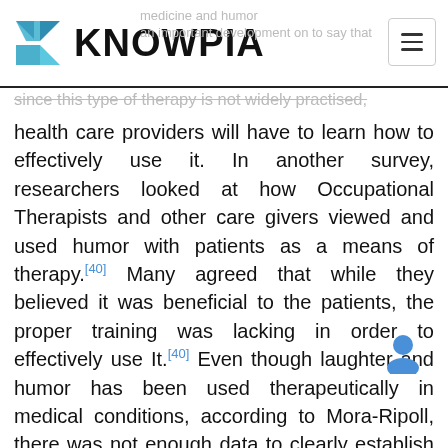KNOWPIA
since this type of therapy is not widely practised, health care providers will have to learn how to effectively use it. In another survey, researchers looked at how Occupational Therapists and other care givers viewed and used humor with patients as a means of therapy.[40] Many agreed that while they believed it was beneficial to the patients, the proper training was lacking in order to effectively use It.[40] Even though laughter and humor has been used therapeutically in medical conditions, according to Mora-Ripoll, there was not enough data to clearly establish that laughter could be used as an overall means of healing. It did suggest that additional research was still needed e "well-designed randomized controlled trials have n. been conducted to date validating the therapeutic